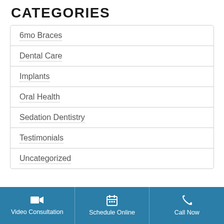CATEGORIES
6mo Braces
Dental Care
Implants
Oral Health
Sedation Dentistry
Testimonials
Uncategorized
Video Consultation   Schedule Online   Call Now